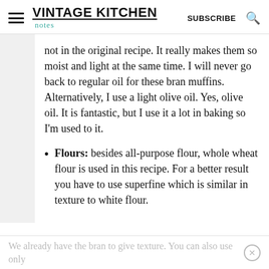VINTAGE KITCHEN | SUBSCRIBE
not in the original recipe. It really makes them so moist and light at the same time. I will never go back to regular oil for these bran muffins. Alternatively, I use a light olive oil. Yes, olive oil. It is fantastic, but I use it a lot in baking so I'm used to it.
Flours: besides all-purpose flour, whole wheat flour is used in this recipe. For a better result you have to use superfine which is similar in texture to white flour.
We already have the bran to give texture. You can also use only